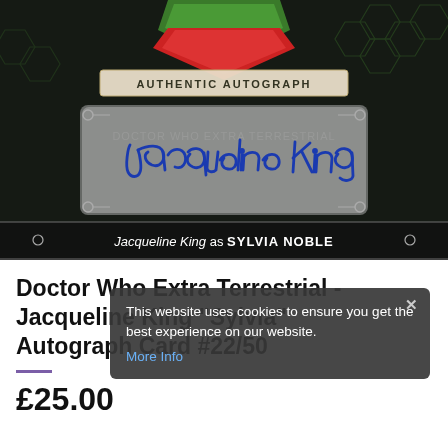[Figure (photo): Doctor Who trading card featuring an authentic autograph by Jacqueline King as Sylvia Noble. Dark green background with hexagon pattern, red/green geometric design at top, silver autograph area with blue ink signature reading 'Jacqueline King', text at bottom reads 'Jacqueline King as SYLVIA NOBLE'.]
Doctor Who Extra Terrestrial - Jacqueline King "Sylvia" Autograph Card #22/50
This website uses cookies to ensure you get the best experience on our website. More Info
£25.00